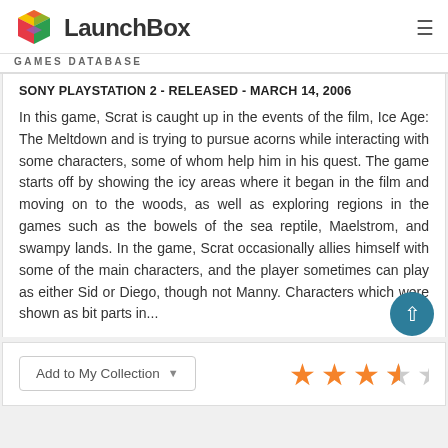LaunchBox GAMES DATABASE
SONY PLAYSTATION 2 - RELEASED - MARCH 14, 2006
In this game, Scrat is caught up in the events of the film, Ice Age: The Meltdown and is trying to pursue acorns while interacting with some characters, some of whom help him in his quest. The game starts off by showing the icy areas where it began in the film and moving on to the woods, as well as exploring regions in the games such as the bowels of the sea reptile, Maelstrom, and swampy lands. In the game, Scrat occasionally allies himself with some of the main characters, and the player sometimes can play as either Sid or Diego, though not Manny. Characters which were shown as bit parts in...
Add to My Collection